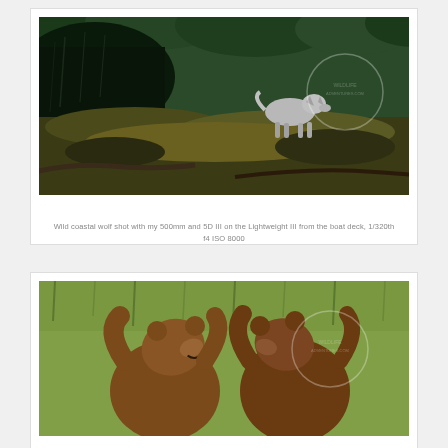[Figure (photo): Wild coastal wolf standing on rocky shoreline with green forest canopy in background. Watermark overlay visible.]
Wild coastal wolf shot with my 500mm and 5D III on the Lightweight III from the boat deck, 1/320th f4 ISO 8000
[Figure (photo): Two brown grizzly bears facing each other and appearing to spar or interact, with green grassy background. Watermark overlay visible.]